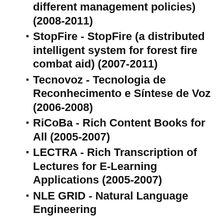different management policies) (2008-2011)
StopFire - StopFire (a distributed intelligent system for forest fire combat aid) (2007-2011)
Tecnovoz - Tecnologia de Reconhecimento e Síntese de Voz (2006-2008)
RiCoBa - Rich Content Books for All (2005-2007)
LECTRA - Rich Transcription of Lectures for E-Learning Applications (2005-2007)
NLE GRID - Natural Language Engineering...